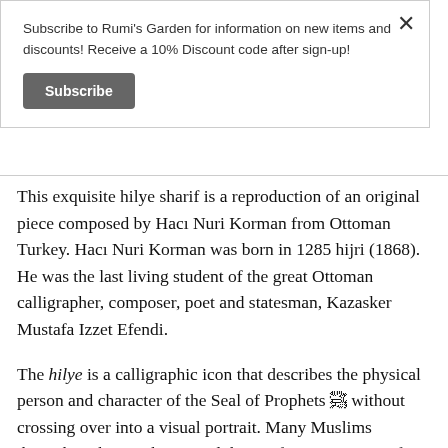Subscribe to Rumi's Garden for information on new items and discounts! Receive a 10% Discount code after sign-up!
Subscribe
This exquisite hilye sharif is a reproduction of an original piece composed by Hacı Nuri Korman from Ottoman Turkey. Hacı Nuri Korman was born in 1285 hijri (1868). He was the last living student of the great Ottoman calligrapher, composer, poet and statesman, Kazasker Mustafa Izzet Efendi.
The hilye is a calligraphic icon that describes the physical person and character of the Seal of Prophets ﷺ without crossing over into a visual portrait. Many Muslims throughout history have used this artifact as a support for their devotion and for its talismanic qualities of